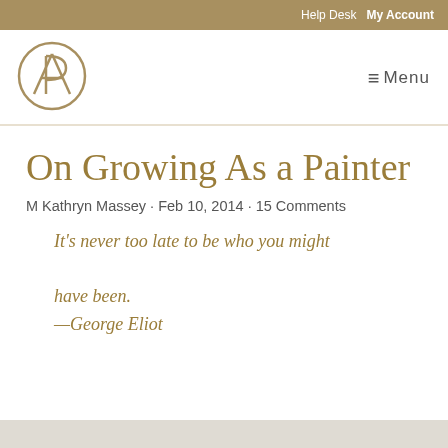Help Desk  My Account
[Figure (logo): Circular monogram logo with stylized A and P letters in gold/tan]
≡ Menu
On Growing As a Painter
M Kathryn Massey · Feb 10, 2014 · 15 Comments
It's never too late to be who you might have been.
—George Eliot